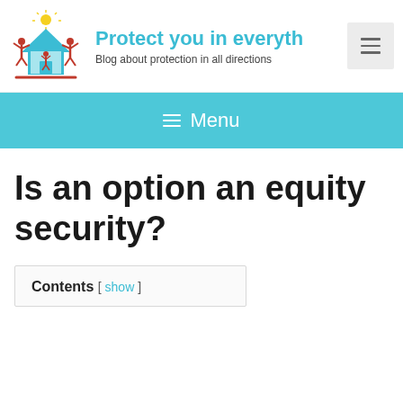[Figure (logo): Logo of the blog showing two adult figures and a child inside a house shape with a sun above, in red and blue, with a red underline]
Protect you in everyth
Blog about protection in all directions
☰ Menu
Is an option an equity security?
Contents [ show ]